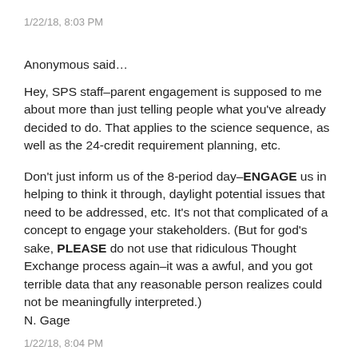1/22/18, 8:03 PM
Anonymous said…
Hey, SPS staff–parent engagement is supposed to me about more than just telling people what you've already decided to do. That applies to the science sequence, as well as the 24-credit requirement planning, etc.

Don't just inform us of the 8-period day–ENGAGE us in helping to think it through, daylight potential issues that need to be addressed, etc. It's not that complicated of a concept to engage your stakeholders. (But for god's sake, PLEASE do not use that ridiculous Thought Exchange process again–it was a awful, and you got terrible data that any reasonable person realizes could not be meaningfully interpreted.)
N. Gage
1/22/18, 8:04 PM